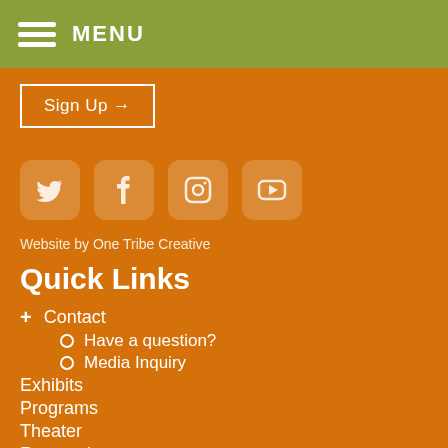MENU
Sign Up →
[Figure (illustration): Four social media icons: Twitter, Facebook, Instagram, YouTube, displayed as rounded square icons in semi-transparent white on orange background]
Website by One Tribe Creative
Quick Links
+ Contact
○ Have a question?
○ Media Inquiry
Exhibits
Programs
Theater
Researchers
Educators